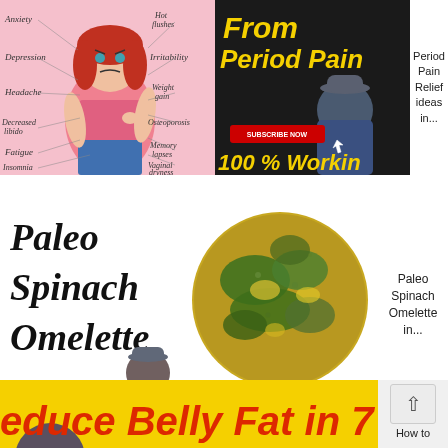[Figure (illustration): Medical symptoms infographic showing a cartoon woman with red hair surrounded by symptom labels: Anxiety, Hot flushes, Depression, Irritability, Headache, Weight gain, Decreased libido, Osteoporosis, Fatigue, Memory lapses, Insomnia, Vaginal dryness]
[Figure (photo): Dark background thumbnail with text 'From Period Pain' in yellow italic and '100 % Working' at bottom in yellow, with a Subscribe Now red button and photo of a man in a hat]
Period Pain Relief ideas in...
[Figure (photo): White background with cursive text 'Paleo Spinach Omelette' on the left and a circular photo of a spinach omelette on the right, with a small person image and Subscribe Now button]
Paleo Spinach Omelette in...
[Figure (photo): Yellow background banner with red italic bold text 'Reduce Belly Fat in 7 Day' partially visible]
How to